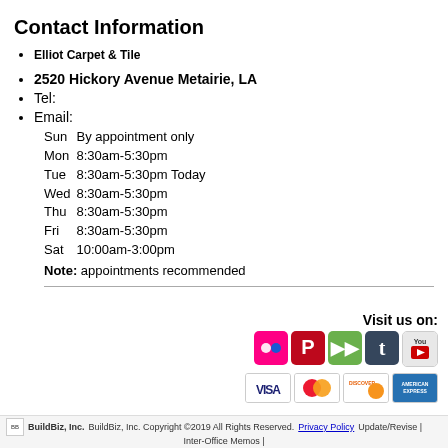Contact Information
Elliot Carpet & Tile
2520 Hickory Avenue Metairie, LA
Tel:
Email:
Sun   By appointment only
Mon  8:30am-5:30pm
Tue   8:30am-5:30pm Today
Wed  8:30am-5:30pm
Thu   8:30am-5:30pm
Fri    8:30am-5:30pm
Sat   10:00am-3:00pm
Note: appointments recommended
[Figure (infographic): Social media icons: Flickr, Pinterest, green forward icon, Tumblr, YouTube. Visit us on: label above them.]
[Figure (infographic): Payment icons: Visa, MasterCard, Discover, American Express]
BuildBiz, Inc. BuildBiz, Inc. Copyright ©2019 All Rights Reserved. Privacy Policy Update/Revise | Inter-Office Memos |